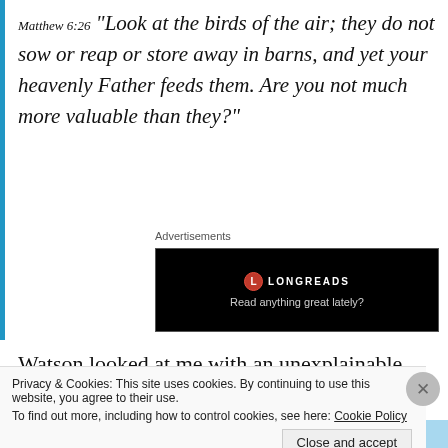Matthew 6:26 “Look at the birds of the air; they do not sow or reap or store away in barns, and yet your heavenly Father feeds them. Are you not much more valuable than they?”
Advertisements
[Figure (other): Longreads advertisement banner on black background. Red circle logo with 'L', text 'LONGREADS' and tagline 'Read anything great lately?']
Watson looked at me with an unexplainable expression that I know will hold in my heart forever, knowing that
Privacy & Cookies: This site uses cookies. By continuing to use this website, you agree to their use.
To find out more, including how to control cookies, see here: Cookie Policy
Close and accept
BROWSING